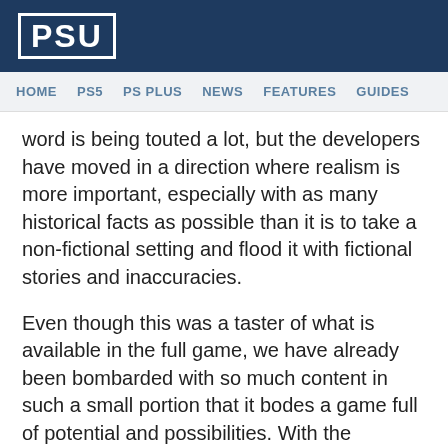PSU
HOME  PS5  PS PLUS  NEWS  FEATURES  GUIDES
word is being touted a lot, but the developers have moved in a direction where realism is more important, especially with as many historical facts as possible than it is to take a non-fictional setting and flood it with fictional stories and inaccuracies.
Even though this was a taster of what is available in the full game, we have already been bombarded with so much content in such a small portion that it bodes a game full of potential and possibilities. With the February 2018 release date approaching ever so quickly, we will keep you up to date with the latest in Kingdom Come: Deliverance and make sure to read